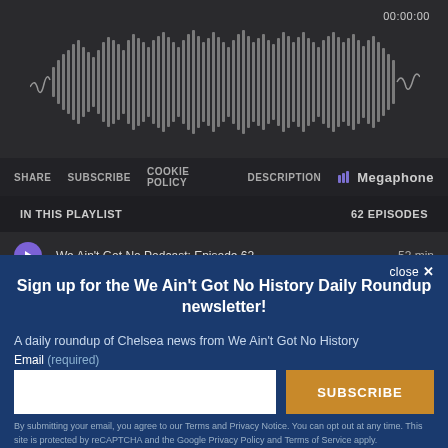[Figure (screenshot): Podcast audio player with waveform visualization on dark background showing 00:00:00 time]
SHARE  SUBSCRIBE  COOKIE POLICY  DESCRIPTION   Megaphone
IN THIS PLAYLIST   62 EPISODES
We Ain't Got No Podcast: Episode 62 - ...  53 min
Sign up for the We Ain't Got No History Daily Roundup newsletter!
A daily roundup of Chelsea news from We Ain't Got No History
Email (required)
SUBSCRIBE
By submitting your email, you agree to our Terms and Privacy Notice. You can opt out at any time. This site is protected by reCAPTCHA and the Google Privacy Policy and Terms of Service apply.